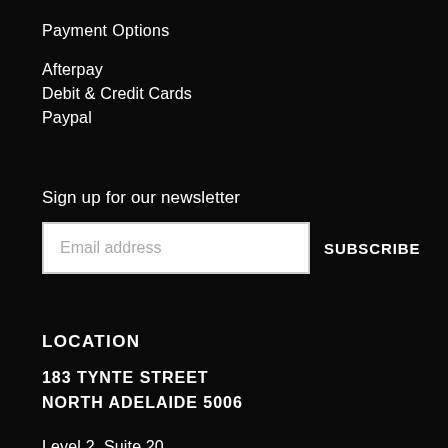Payment Options
Afterpay
Debit & Credit Cards
Paypal
Sign up for our newsletter
Email address
SUBSCRIBE
LOCATION
183 TYNTE STREET
NORTH ADELAIDE 5006
Level 2, Suite 20